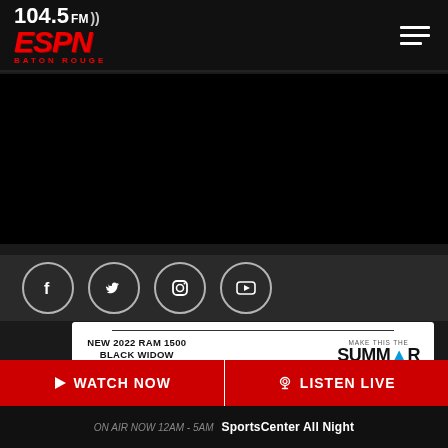104.5 FM ESPN Baton Rouge
[Figure (screenshot): Black hero banner area, no visible content]
[Figure (infographic): Social media icon buttons: Facebook, Twitter, Instagram, YouTube]
[Figure (infographic): Advertisement card: NEW 2022 RAM 1500 BLACK WIDOW, $12,000, Make This The Summer Event]
WATCH NOW
LISTEN LIVE
ON AIR NOW 12AM - 5AM  SportsCenter All Night